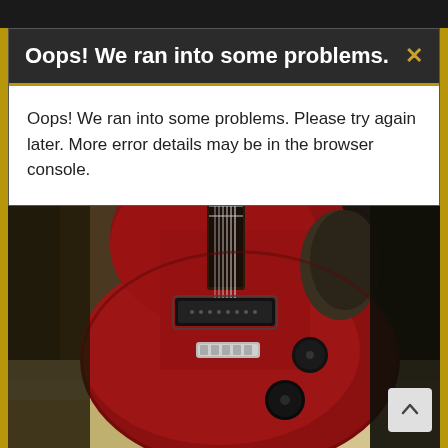[Figure (photo): A red electric guitar (resembling a Gibson Les Paul Junior / Melody Maker style) lying on a surface, with a dark leather jacket or clothing visible in the background. The guitar has a single pickup, chrome bridge/tailpiece, and black control knobs.]
Oops! We ran into some problems.
Oops! We ran into some problems. Please try again later. More error details may be in the browser console.